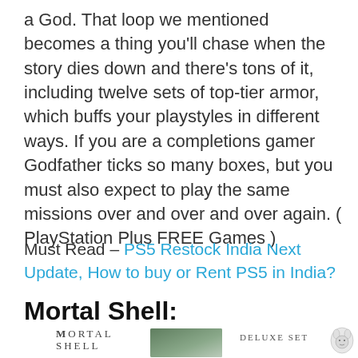a God. That loop we mentioned becomes a thing you'll chase when the story dies down and there's tons of it, including twelve sets of top-tier armor, which buffs your playstyles in different ways. If you are a completions gamer Godfather ticks so many boxes, but you must also expect to play the same missions over and over and over again. ( PlayStation Plus FREE Games )
Must Read – PS5 Restock India Next Update, How to buy or Rent PS5 in India?
Mortal Shell:
[Figure (photo): Bottom strip showing Mortal Shell game logo on the left, a game landscape image in the center, and Deluxe Set text with wolf illustration on the right]